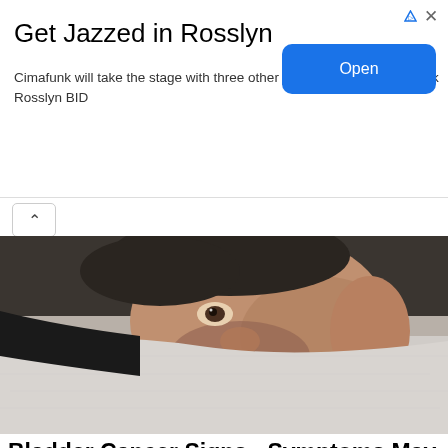Get Jazzed in Rosslyn
Cimafunk will take the stage with three other jazz acts at Gateway Park Rosslyn BID
[Figure (photo): Man lying on pillow looking worried/awake]
Bladder Cancer Signs - Symptoms May Startle Many
Bladder Cancer | Search Ads | Sponsored
[Figure (photo): Elderly person with gray curly hair, partial view from above]